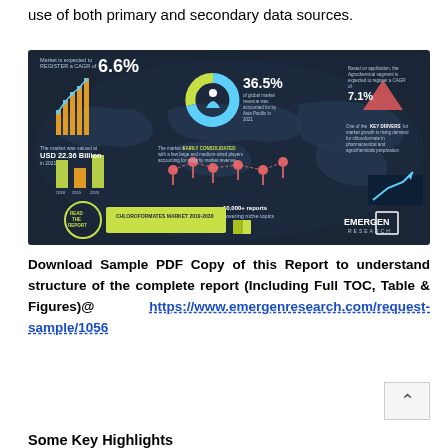use of both primary and secondary data sources.
[Figure (infographic): Chloroformates Market 2019-2030 infographic by Emergen Research showing: Market expected to register a CAGR of 6.6%; 36.5% of global market revenue accounted for by Asia Pacific in 2021; Agrochemical segment expected to register a CAGR of 7.1%; Market valued at USD 22.36 Billion in 2021; Market is fairly consolidated; One of the KEY DRIVERS for market growth is rising demand for chloroformate in pharmaceutical and agrochemicals preparation; 10,000+ reports covering niche topics.]
Download Sample PDF Copy of this Report to understand structure of the complete report (Including Full TOC, Table & Figures)@ https://www.emergenresearch.com/request-sample/1056
Some Key Highlights